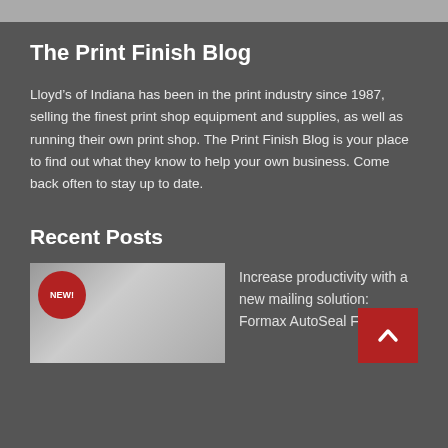The Print Finish Blog
Lloyd’s of Indiana has been in the print industry since 1987, selling the finest print shop equipment and supplies, as well as running their own print shop. The Print Finish Blog is your place to find out what they know to help your own business. Come back often to stay up to date.
Recent Posts
[Figure (photo): Thumbnail image of a mailing machine with a NEW! badge overlay in red circle]
Increase productivity with a new mailing solution: Formax AutoSeal FD